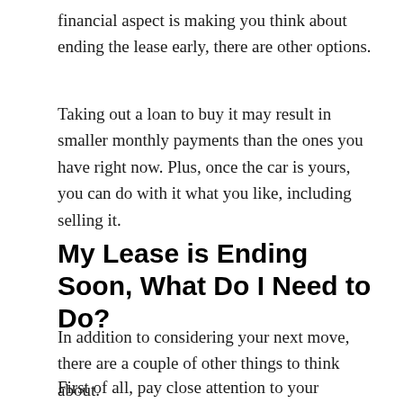financial aspect is making you think about ending the lease early, there are other options.
Taking out a loan to buy it may result in smaller monthly payments than the ones you have right now. Plus, once the car is yours, you can do with it what you like, including selling it.
My Lease is Ending Soon, What Do I Need to Do?
In addition to considering your next move, there are a couple of other things to think about.
First of all, pay close attention to your mileage. If it looks like you're going to go over the annual limit,